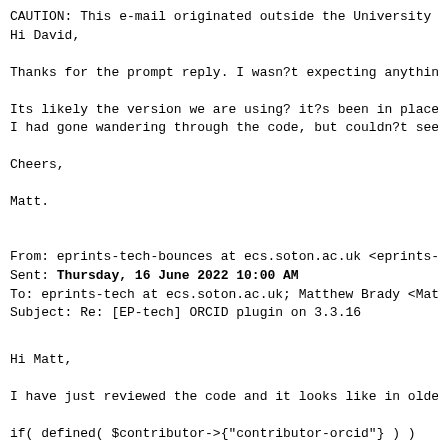CAUTION: This e-mail originated outside the University of
Hi David,
Thanks for the prompt reply. I wasn?t expecting anything
Its likely the version we are using? it?s been in place f
I had gone wandering through the code, but couldn?t see t
Cheers,
Matt.
From: eprints-tech-bounces at ecs.soton.ac.uk <eprints-te
Sent: Thursday, 16 June 2022 10:00 AM
To: eprints-tech at ecs.soton.ac.uk; Matthew Brady <Matt
Subject: Re: [EP-tech] ORCID plugin on 3.3.16
Hi Matt,
I have just reviewed the code and it looks like in older
if( defined( $contributor->{"contributor-orcid"} ) )
I have taken a quick look at the GitHub issues for this O
https://eur03.safelinks.protection.outlook.com/?url=https
The patch this discusses looks to have been merged into